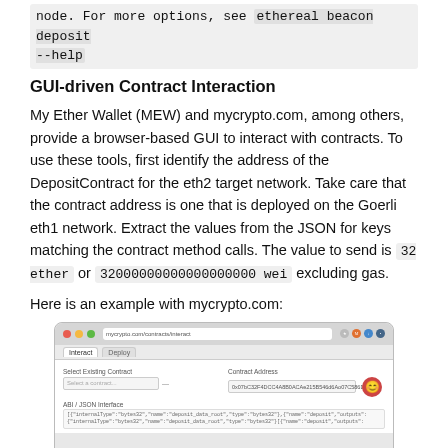node. For more options, see `ethereal beacon deposit --help`
GUI-driven Contract Interaction
My Ether Wallet (MEW) and mycrypto.com, among others, provide a browser-based GUI to interact with contracts. To use these tools, first identify the address of the DepositContract for the eth2 target network. Take care that the contract address is one that is deployed on the Goerli eth1 network. Extract the values from the JSON for keys matching the contract method calls. The value to send is 32 ether or 32000000000000000000 wei excluding gas.
Here is an example with mycrypto.com:
[Figure (screenshot): Screenshot of mycrypto.com browser interface showing the Interact with Contracts page, with fields for Select Existing Contract and Contract Address (showing address 0x07bC32F4DCC4A8B0ACAe215B546d6Ao07C586D163DC), and ABI/JSON Interface section with deposit_data_root type bytes32 content visible.]